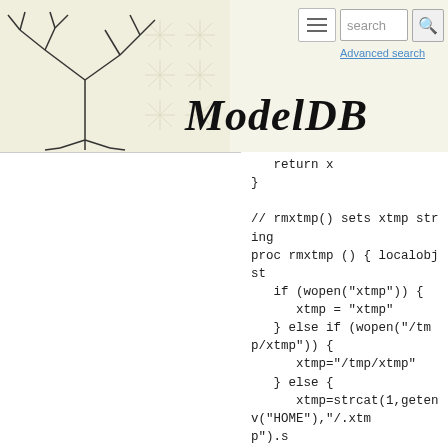ModelDB — Advanced search
[Figure (illustration): ModelDB logo with tree/neuron illustration on beige background]
return x
}

// rmxtmp() sets xtmp string
proc rmxtmp () { localobj st
   if (wopen("xtmp")) {
      xtmp = "xtmp"
   } else if (wopen("/tmp/xtmp")) {
      xtmp="/tmp/xtmp"
   } else {
      xtmp=strcat(1,getenv("HOME"),"/.xtmp").s
      if (!wopen(xtmp)) printf("Can't open an xtmp file anywhere: . /tmp ~/ \n")
   }
   wopen() // close the file
}
rmxtmp()

//* matrix functions using matrix.mod st